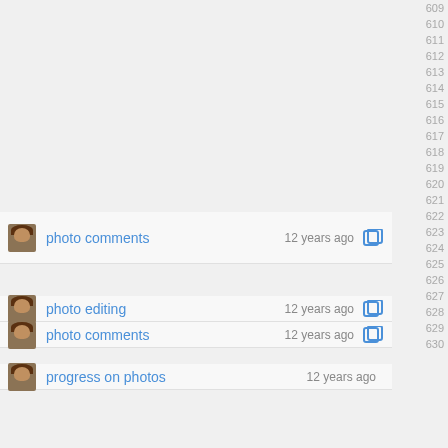photo comments · 12 years ago
photo editing · 12 years ago
photo comments · 12 years ago
progress on photos · 12 years ago
photo comments · 12 years ago
progress on photos · 12 years ago